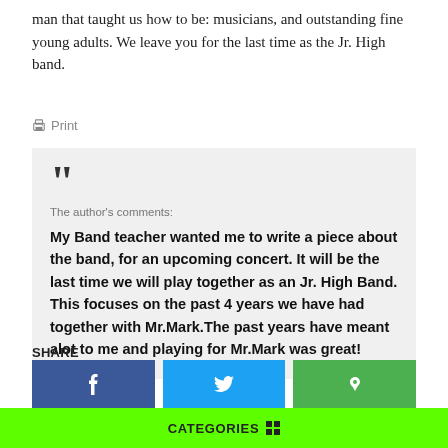man that taught us how to be: musicians, and outstanding fine young adults. We leave you for the last time as the Jr. High band.
🖨 Print
The author's comments:
My Band teacher wanted me to write a piece about the band, for an upcoming concert. It will be the last time we will play together as an Jr. High Band. This focuses on the past 4 years we have had together with Mr.Mark.The past years have meant alot to me and playing for Mr.Mark was great!
SHARE
CATEGORIES